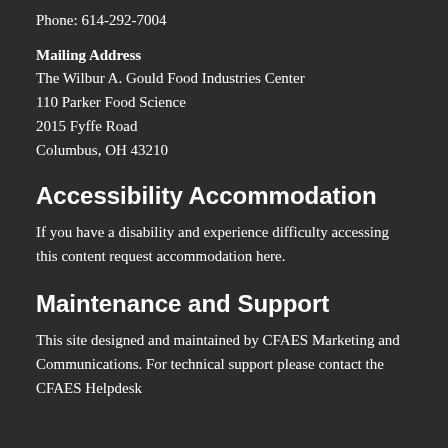Phone: 614-292-7004
Mailing Address
The Wilbur A. Gould Food Industries Center
110 Parker Food Science
2015 Fyffe Road
Columbus, OH 43210
Accessibility Accommodation
If you have a disability and experience difficulty accessing this content request accommodation here.
Maintenance and Support
This site designed and maintained by CFAES Marketing and Communications. For technical support please contact the CFAES Helpdesk